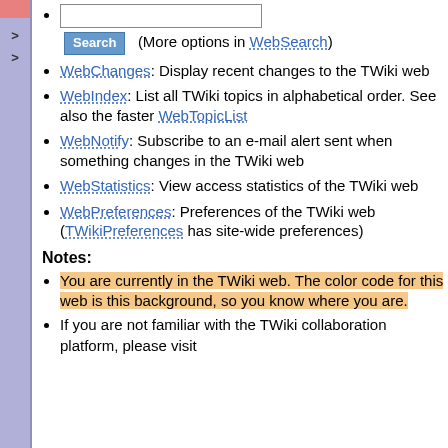[search box] Search (More options in WebSearch)
WebChanges: Display recent changes to the TWiki web
WebIndex: List all TWiki topics in alphabetical order. See also the faster WebTopicList
WebNotify: Subscribe to an e-mail alert sent when something changes in the TWiki web
WebStatistics: View access statistics of the TWiki web
WebPreferences: Preferences of the TWiki web (TWikiPreferences has site-wide preferences)
Notes:
You are currently in the TWiki web. The color code for this web is this background, so you know where you are.
If you are not familiar with the TWiki collaboration platform, please visit